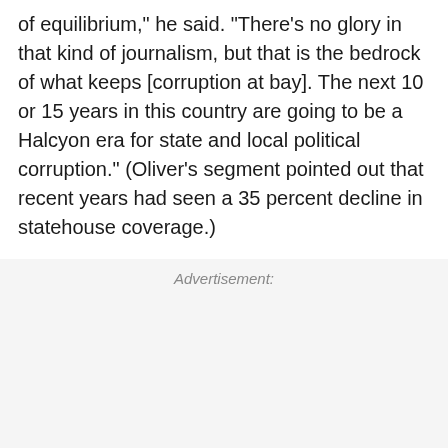of equilibrium," he said. "There's no glory in that kind of journalism, but that is the bedrock of what keeps [corruption at bay]. The next 10 or 15 years in this country are going to be a Halcyon era for state and local political corruption." (Oliver's segment pointed out that recent years had seen a 35 percent decline in statehouse coverage.)
Advertisement: